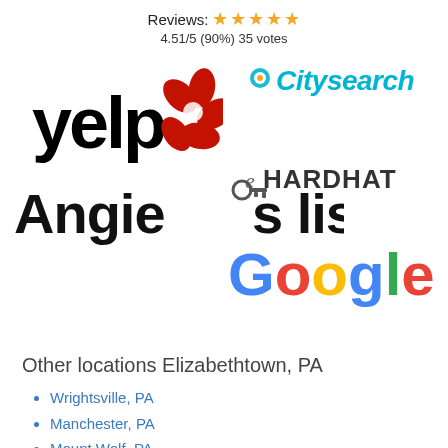Reviews: ★★★★★ 4.51/5 (90%) 35 votes
[Figure (logo): Yelp logo with red burst petals]
[Figure (logo): Citysearch logo in teal italic text with icon]
[Figure (logo): eHARDHAT logo in dark bold text]
[Figure (logo): Angie's list logo in bold black text with key icon]
[Figure (logo): Google logo in multicolor text]
Other locations Elizabethtown, PA
Wrightsville, PA
Manchester, PA
Mount Wolf, PA
Hershey, PA